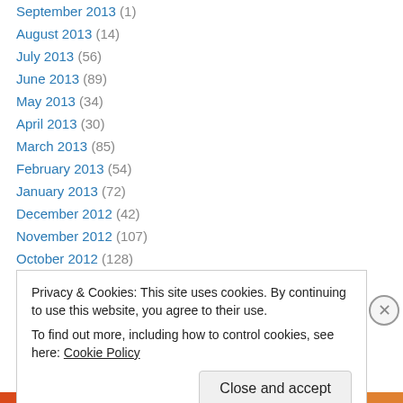September 2013 (1)
August 2013 (14)
July 2013 (56)
June 2013 (89)
May 2013 (34)
April 2013 (30)
March 2013 (85)
February 2013 (54)
January 2013 (72)
December 2012 (42)
November 2012 (107)
October 2012 (128)
September 2012 (174)
Privacy & Cookies: This site uses cookies. By continuing to use this website, you agree to their use.
To find out more, including how to control cookies, see here: Cookie Policy
Close and accept